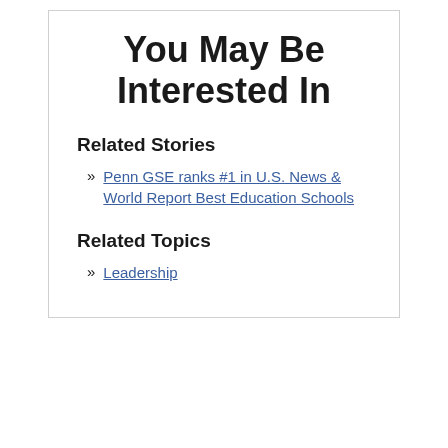You May Be Interested In
Related Stories
Penn GSE ranks #1 in U.S. News & World Report Best Education Schools
Related Topics
Leadership